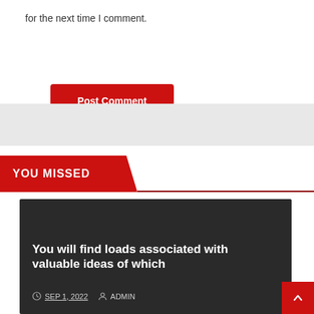for the next time I comment.
Post Comment
YOU MISSED
UNCATEGORIZED
You will find loads associated with valuable ideas of which
SEP 1, 2022  ADMIN